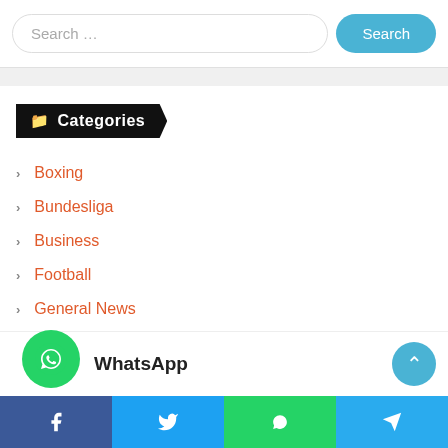[Figure (screenshot): Search bar with placeholder 'Search ...' and a blue 'Search' button on the right]
Categories
Boxing
Bundesliga
Business
Football
General News
Health & Science
Insurance
[Figure (screenshot): WhatsApp floating action button and share bar at bottom with Facebook, Twitter, WhatsApp, Telegram icons]